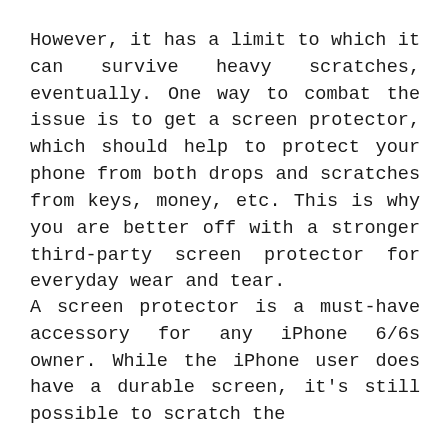However, it has a limit to which it can survive heavy scratches, eventually. One way to combat the issue is to get a screen protector, which should help to protect your phone from both drops and scratches from keys, money, etc. This is why you are better off with a stronger third-party screen protector for everyday wear and tear.
A screen protector is a must-have accessory for any iPhone 6/6s owner. While the iPhone user does have a durable screen, it's still possible to scratch the